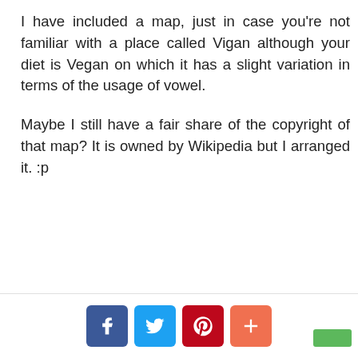I have included a map, just in case you're not familiar with a place called Vigan although your diet is Vegan on which it has a slight variation in terms of the usage of vowel.
Maybe I still have a fair share of the copyright of that map? It is owned by Wikipedia but I arranged it. :p
Social share buttons: Facebook, Twitter, Pinterest, Plus